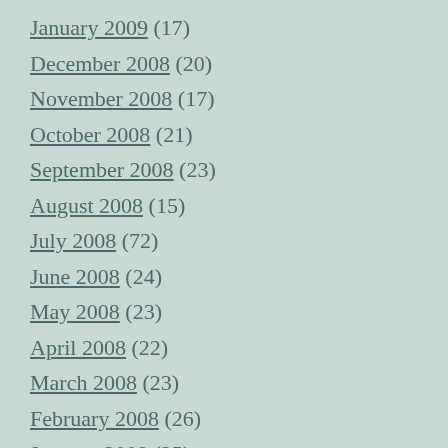January 2009 (17)
December 2008 (20)
November 2008 (17)
October 2008 (21)
September 2008 (23)
August 2008 (15)
July 2008 (72)
June 2008 (24)
May 2008 (23)
April 2008 (22)
March 2008 (23)
February 2008 (26)
January 2008 (25)